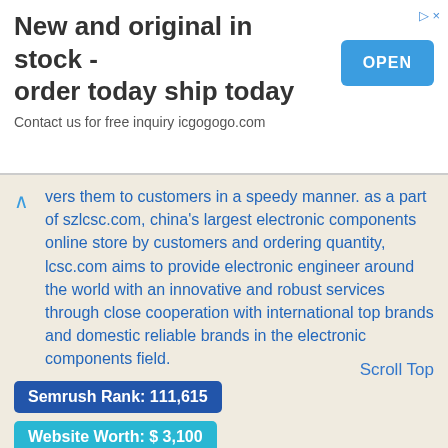[Figure (screenshot): Advertisement banner: 'New and original in stock - order today ship today. Contact us for free inquiry icgogogo.com' with a blue OPEN button.]
vers them to customers in a speedy manner. as a part of szlcsc.com, china's largest electronic components online store by customers and ordering quantity, lcsc.com aims to provide electronic engineer around the world with an innovative and robust services through close cooperation with international top brands and domestic reliable brands in the electronic components field.
Semrush Rank: 111,615
Website Worth: $ 3,100
Categories: Internet Services, Business
Scroll Top
Is it similar? Yes 0 No 0